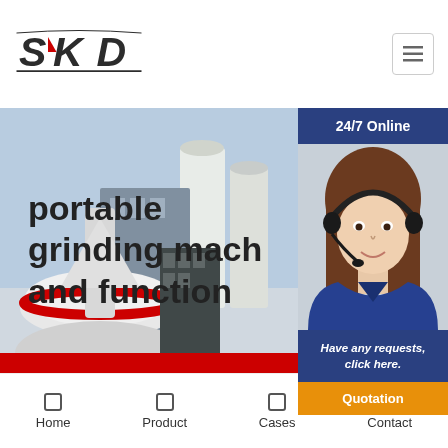[Figure (logo): SKD company logo with stylized S, K, D letters in dark color with swoosh accents, underlined]
24/7 Online
[Figure (photo): Customer service agent, woman wearing headset and blue uniform, smiling]
Have any requests, click here.
Quotation
portable grinding mach and function
[Figure (photo): Industrial grinding/crushing machine in a factory setting, large white and red metal machinery]
Home  Product  Cases  Contact